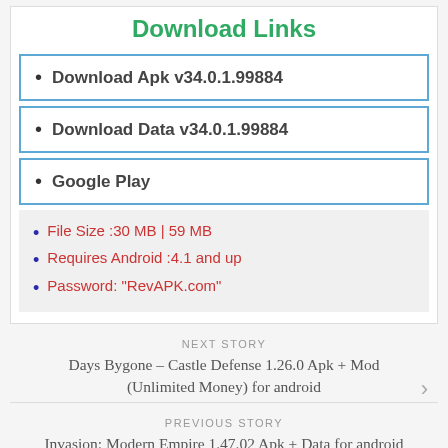Download Links
Download Apk v34.0.1.99884
Download Data v34.0.1.99884
Google Play
File Size :30 MB | 59 MB
Requires Android :4.1 and up
Password: "RevAPK.com"
NEXT STORY
Days Bygone – Castle Defense 1.26.0 Apk + Mod (Unlimited Money) for android
PREVIOUS STORY
Invasion: Modern Empire 1.47.02 Apk + Data for android